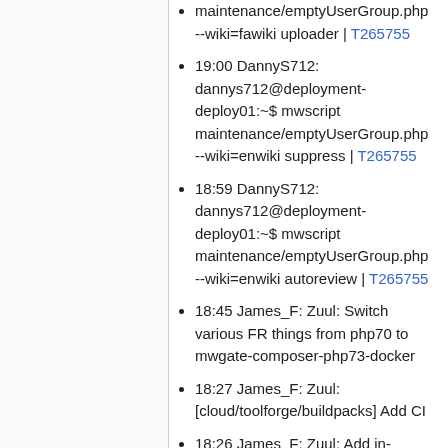maintenance/emptyUserGroup.php --wiki=fawiki uploader | T265755
19:00 DannyS712: dannys712@deployment-deploy01:~$ mwscript maintenance/emptyUserGroup.php --wiki=enwiki suppress | T265755
18:59 DannyS712: dannys712@deployment-deploy01:~$ mwscript maintenance/emptyUserGroup.php --wiki=enwiki autoreview | T265755
18:45 James_F: Zuul: Switch various FR things from php70 to mwgate-composer-php73-docker
18:27 James_F: Zuul: [cloud/toolforge/buildpacks] Add CI
18:26 James_F: Zuul: Add in-wikimedia-fundraising-production and assert shape